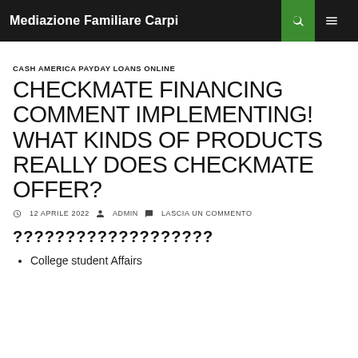Mediazione Familiare Carpi
CASH AMERICA PAYDAY LOANS ONLINE
CHECKMATE FINANCING COMMENT IMPLEMENTING! WHAT KINDS OF PRODUCTS REALLY DOES CHECKMATE OFFER?
12 APRILE 2022   ADMIN   LASCIA UN COMMENTO
???????????????????
College student Affairs